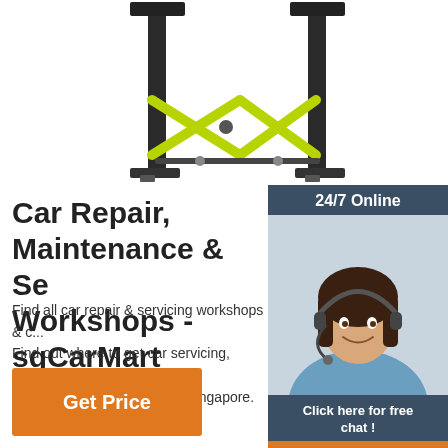[Figure (photo): Car lift / two-post vehicle lift equipment with yellow scissor arms and black columns]
[Figure (photo): 24/7 Online banner with female customer service agent wearing headset, with 'Click here for free chat!' text and orange QUOTATION button]
Car Repair, Maintenance & Se... Workshops - sgCarMart
Find all car repair & servicing workshops & c... Find out where to get car servicing, maintena... repairs & troubleshooting in Singapore. ...
[Figure (other): Orange 'Get Price' button]
[Figure (logo): TOP badge with orange dots arranged in triangle and orange TOP text]